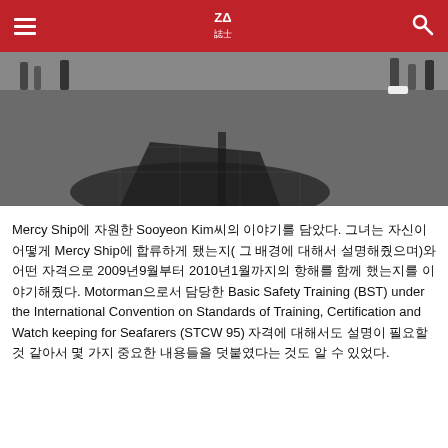Navigation bar with hamburger menu, ZA logo, and search icon
[Figure (photo): Wide-angle photo of a cobblestone plaza with people's feet and legs visible around the edges, and a large dark shadow cast across the pavement in the foreground.]
Mercy Ship에 자원한 Sooyeon Kim씨의 이야기를 담았다. 그녀는 자신이 어떻게 Mercy Ship에 합류하게 됐는지( 그 배경에 대해서 설명해줬으며)와 어떤 자격으로 2009년 9월부터 2010년 1월까지의 항해를 함께 했는지를 이야기해줬다. Motorman으로서 담당한 Basic Safety Training (BST) under the International Convention on Standards of Training, Certification and Watch keeping for Seafarers (STCW 95) 자격에 대해서도 설명이 필요할 것 같아서 몇 가지 중요한 내용들을 덧붙였다는 것도 알 수 있었다.